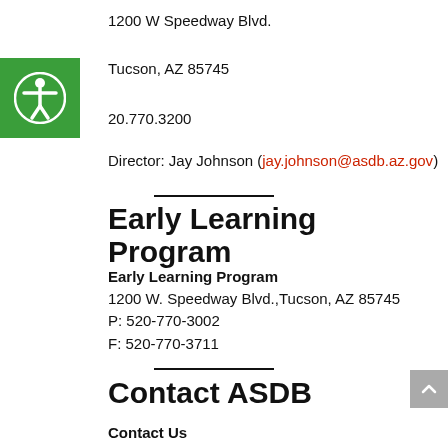1200 W Speedway Blvd.
Tucson, AZ 85745
20.770.3200
Director: Jay Johnson (jay.johnson@asdb.az.gov)
Early Learning Program
Early Learning Program
1200 W. Speedway Blvd.,Tucson, AZ 85745
P: 520-770-3002
F: 520-770-3711
Contact ASDB
Contact Us